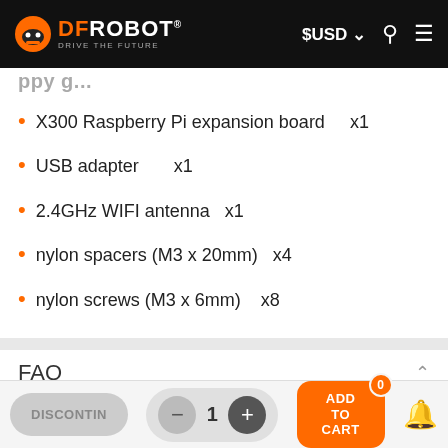DFRobot — DRIVE THE FUTURE | $USD | Search | Menu
X300 Raspberry Pi expansion board    x1
USB adapter        x1
2.4GHz WIFI antenna   x1
nylon spacers (M3 x 20mm)   x4
nylon screws (M3 x 6mm)    x8
FAQ
Comments   Community   Privacy Policy
Login
DISCONTIN  -  1  +  ADD TO CART  0